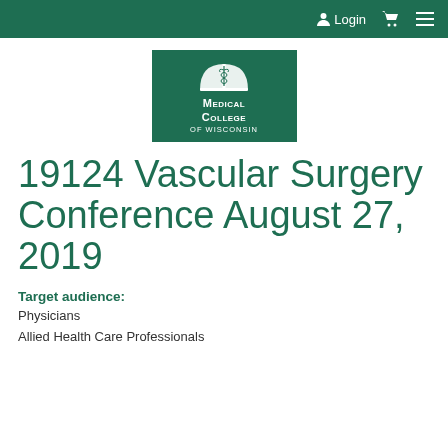Login
[Figure (logo): Medical College of Wisconsin logo — white book with caduceus on dark green background, text reads MEDICAL COLLEGE OF WISCONSIN]
19124 Vascular Surgery Conference August 27, 2019
Target audience: Physicians Allied Health Care Professionals